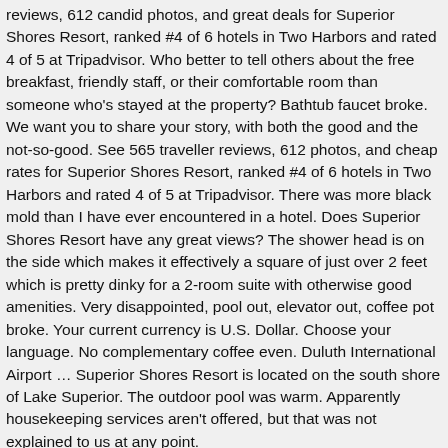reviews, 612 candid photos, and great deals for Superior Shores Resort, ranked #4 of 6 hotels in Two Harbors and rated 4 of 5 at Tripadvisor. Who better to tell others about the free breakfast, friendly staff, or their comfortable room than someone who's stayed at the property? Bathtub faucet broke. We want you to share your story, with both the good and the not-so-good. See 565 traveller reviews, 612 photos, and cheap rates for Superior Shores Resort, ranked #4 of 6 hotels in Two Harbors and rated 4 of 5 at Tripadvisor. There was more black mold than I have ever encountered in a hotel. Does Superior Shores Resort have any great views? The shower head is on the side which makes it effectively a square of just over 2 feet which is pretty dinky for a 2-room suite with otherwise good amenities. Very disappointed, pool out, elevator out, coffee pot broke. Your current currency is U.S. Dollar. Choose your language. No complementary coffee even. Duluth International Airport … Superior Shores Resort is located on the south shore of Lake Superior. The outdoor pool was warm. Apparently housekeeping services aren't offered, but that was not explained to us at any point.